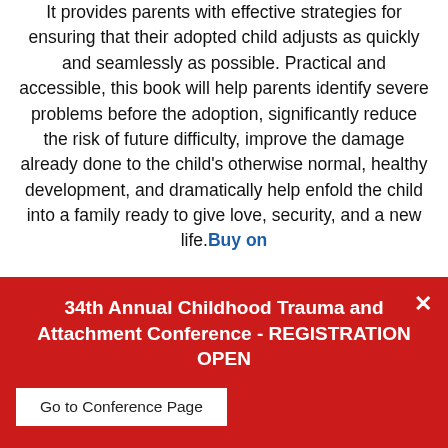It provides parents with effective strategies for ensuring that their adopted child adjusts as quickly and seamlessly as possible. Practical and accessible, this book will help parents identify severe problems before the adoption, significantly reduce the risk of future difficulty, improve the damage already done to the child's otherwise normal, healthy development, and dramatically help enfold the child into a family ready to give love, security, and a new life. Buy on
34th Annual Childhood Trauma and Attachment Conference - REGISTRATION OPEN
Go to Conference Page